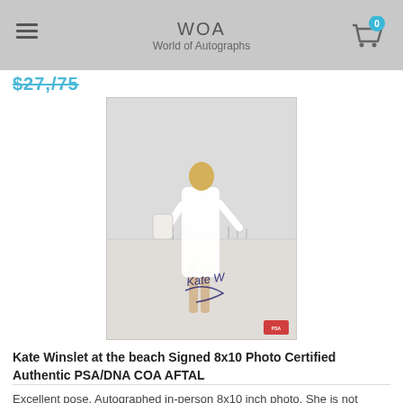WOA World of Autographs
$27,/75
[Figure (photo): Signed 8x10 photo of Kate Winslet at the beach, walking barefoot on sand wearing a white shirt dress, with a dark autograph signature in the lower portion of the photo and a PSA/DNA authentication sticker in the bottom right corner.]
Kate Winslet at the beach Signed 8x10 Photo Certified Authentic PSA/DNA COA AFTAL
Excellent pose. Autographed in-person 8x10 inch photo. She is not common. This is 3rd party